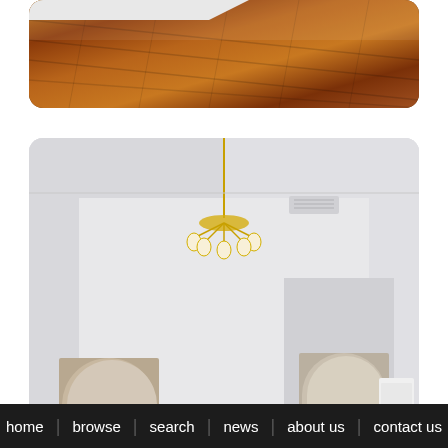[Figure (photo): Close-up of hardwood floor with reddish-brown wood planks, diagonal perspective]
[Figure (photo): Interior living room with light gray walls, arched doorways, chandelier, staircase, and hardwood floors]
[Figure (photo): Light marble or light-colored surface, partially visible, with a small round fixture]
home   browse   search   news   about us   contact us